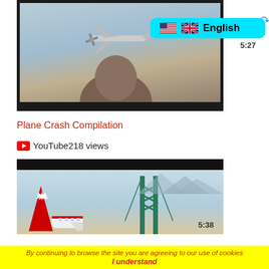[Figure (screenshot): Video thumbnail showing a small aircraft in the sky with a person's head silhouette in the foreground, dark border around the video frame]
[Figure (screenshot): Language selector badge showing English with US/UK flags on cyan background, with loading spinner]
5:27
Plane Crash Compilation
YouTube218 views
[Figure (screenshot): Video thumbnail showing an Air Canada airplane on tarmac with a bridge in the background, black bar at top]
5:38
By continuing to browse the site you are agreeing to our use of cookies
I understand